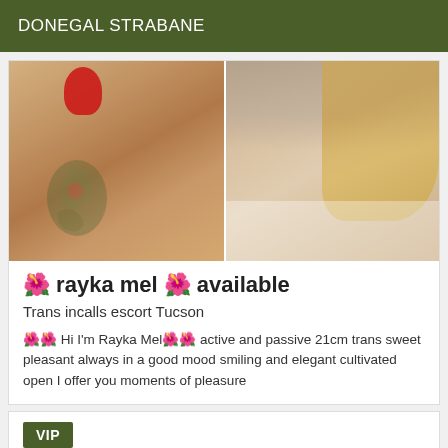DONEGAL STRABANE
[Figure (photo): Two-panel photo: left panel shows a person's legs with tattoos and a red object; right panel shows a blonde woman in white top lying down]
🌺 rayka mel 🌺 available
Trans incalls escort Tucson
🌺🌺 Hi I'm Rayka Mel🌺🌺 active and passive 21cm trans sweet pleasant always in a good mood smiling and elegant cultivated open I offer you moments of pleasure
VIP